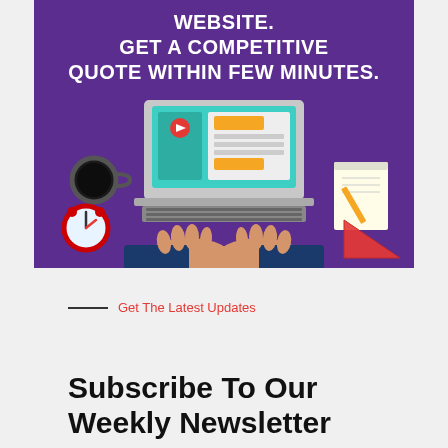[Figure (illustration): Purple banner illustration showing a person typing on a laptop from a top-down view, with a coffee cup, red alarm clock, notepad with pencil, and red triangle ruler. Text on the banner reads: WEBSITE. GET A COMPETITIVE QUOTE WITHIN FEW MINUTES.]
Get The Latest Updates
Subscribe To Our Weekly Newsletter